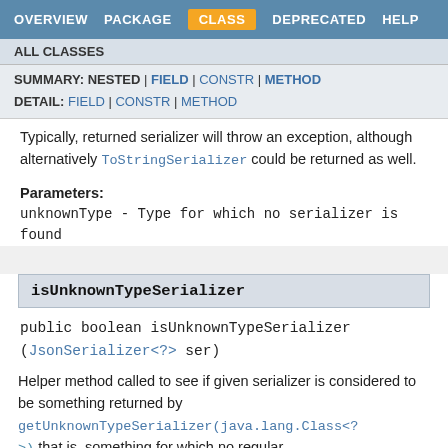OVERVIEW | PACKAGE | CLASS | DEPRECATED | HELP
ALL CLASSES
SUMMARY: NESTED | FIELD | CONSTR | METHOD
DETAIL: FIELD | CONSTR | METHOD
Typically, returned serializer will throw an exception, although alternatively ToStringSerializer could be returned as well.
Parameters:
unknownType - Type for which no serializer is found
isUnknownTypeSerializer
public boolean isUnknownTypeSerializer
(JsonSerializer<?> ser)
Helper method called to see if given serializer is considered to be something returned by getUnknownTypeSerializer(java.lang.Class<?>) that is, something for which no regular serializer was found or configured.